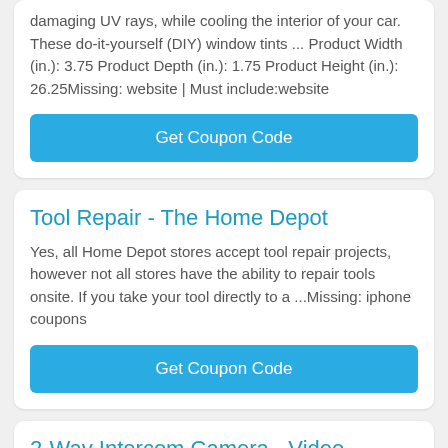damaging UV rays, while cooling the interior of your car. These do-it-yourself (DIY) window tints ... Product Width (in.): 3.75 Product Depth (in.): 1.75 Product Height (in.): 26.25Missing: website | Must include:website
Get Coupon Code
Tool Repair - The Home Depot
Yes, all Home Depot stores accept tool repair projects, however not all stores have the ability to repair tools onsite. If you take your tool directly to a ...Missing: iphone coupons
Get Coupon Code
2-Way Intercom Camera - Video